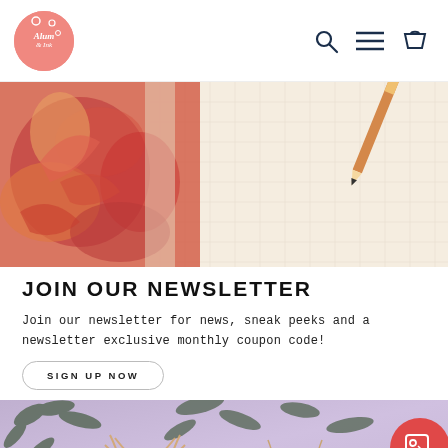[Figure (logo): Alum & Ink brand logo - circular pink/salmon logo with white script text]
[Figure (photo): Hero banner image showing colorful stickers/artwork on the left and a dotted notebook with pencil on the right, warm tones]
JOIN OUR NEWSLETTER
Join our newsletter for news, sneak peeks and a newsletter exclusive monthly coupon code!
SIGN UP NOW
[Figure (photo): Bottom banner image showing botanical/leaf decorations on a purple/lavender background with decorative items, and a red circular tag/badge icon]